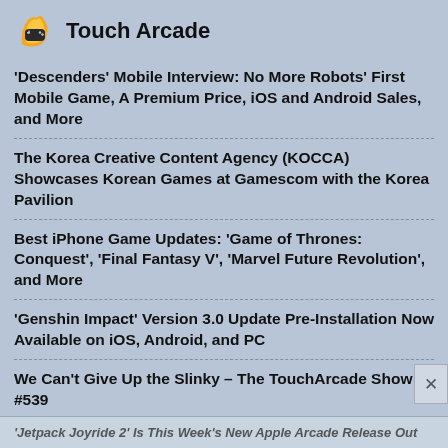Touch Arcade
'Descenders' Mobile Interview: No More Robots' First Mobile Game, A Premium Price, iOS and Android Sales, and More
The Korea Creative Content Agency (KOCCA) Showcases Korean Games at Gamescom with the Korea Pavilion
Best iPhone Game Updates: 'Game of Thrones: Conquest', 'Final Fantasy V', 'Marvel Future Revolution', and More
'Genshin Impact' Version 3.0 Update Pre-Installation Now Available on iOS, Android, and PC
We Can't Give Up the Slinky – The TouchArcade Show #539
TouchArcade Game of the Week: 'Pocket Skate'
SwitchArcade Round-Up: 'Strike Buster Prototype', 'Super Gravity Ball', Plus Today's Other Releases and Sales
'Jetpack Joyride 2' Is This Week's New Apple Arcade Release Out